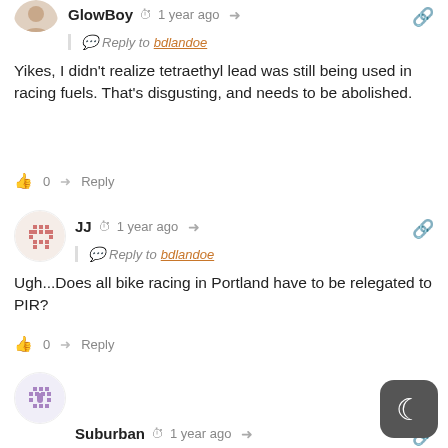[Figure (illustration): Partial avatar circle at top for GlowBoy user]
GlowBoy  1 year ago
Reply to bdlandoe
Yikes, I didn't realize tetraethyl lead was still being used in racing fuels. That's disgusting, and needs to be abolished.
0  Reply
[Figure (illustration): Avatar circle for JJ user, reddish pattern]
JJ  1 year ago
Reply to bdlandoe
Ugh...Does all bike racing in Portland have to be relegated to PIR?
0  Reply
[Figure (illustration): Avatar circle for Suburban user, purple pattern]
Suburban  1 year ago